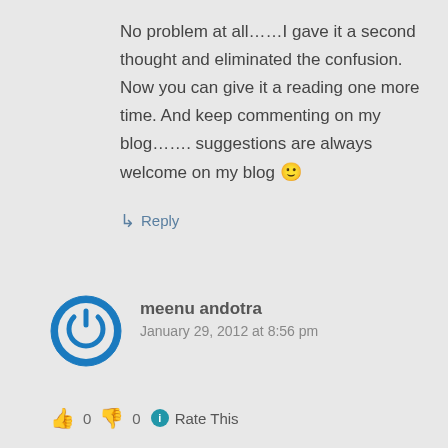No problem at all……I gave it a second thought and eliminated the confusion. Now you can give it a reading one more time. And keep commenting on my blog……. suggestions are always welcome on my blog 🙂
↳ Reply
meenu andotra
January 29, 2012 at 8:56 pm
👍 0 👎 0 ℹ Rate This